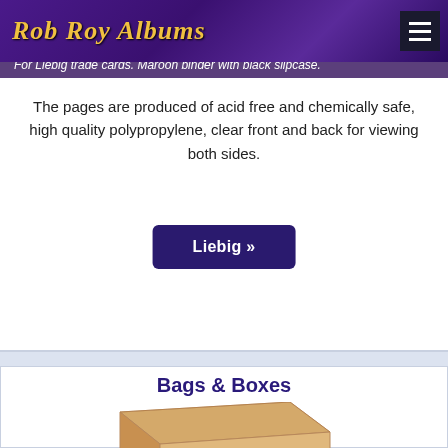Rob Roy Albums
For Liebig trade cards. Maroon binder with black slipcase.
The pages are produced of acid free and chemically safe, high quality polypropylene, clear front and back for viewing both sides.
Liebig »
Bags & Boxes
[Figure (photo): A tan/kraft cardboard box viewed from above at an angle, showing the top and two sides.]